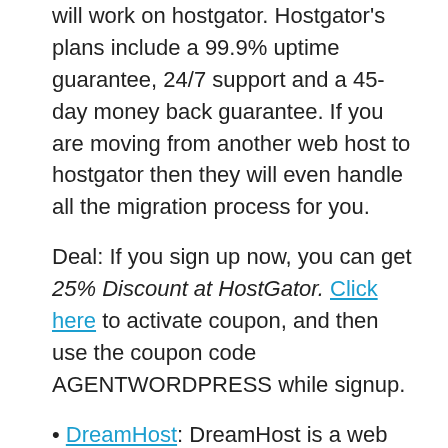will work on hostgator. Hostgator's plans include a 99.9% uptime guarantee, 24/7 support and a 45-day money back guarantee. If you are moving from another web host to hostgator then they will even handle all the migration process for you.
Deal: If you sign up now, you can get 25% Discount at HostGator. Click here to activate coupon, and then use the coupon code AGENTWORDPRESS while signup.
• DreamHost: DreamHost is a web hosting service that specializes in WordPress hosting solutions. Their servers are specially optimized for hosting WordPress sites. You get a scalable, fast and secure WordPress website if you use web hosting services from DreamHost.
Deal: If you sign up now, you can get $50 Discount at